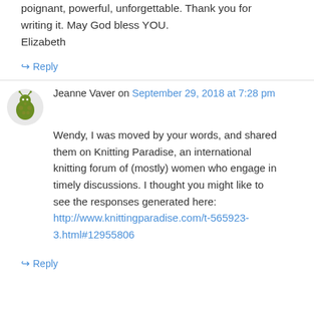poignant, powerful, unforgettable. Thank you for writing it. May God bless YOU.
Elizabeth
↪ Reply
Jeanne Vaver on September 29, 2018 at 7:28 pm
Wendy, I was moved by your words, and shared them on Knitting Paradise, an international knitting forum of (mostly) women who engage in timely discussions. I thought you might like to see the responses generated here:
http://www.knittingparadise.com/t-565923-3.html#12955806
↪ Reply